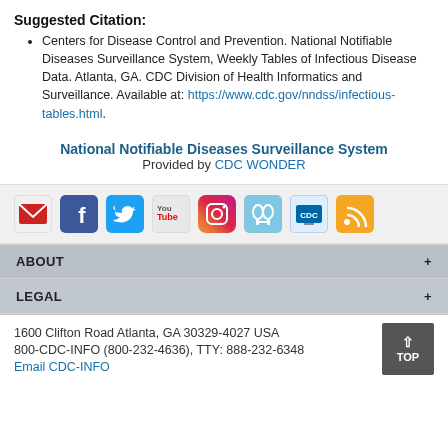Suggested Citation:
Centers for Disease Control and Prevention. National Notifiable Diseases Surveillance System, Weekly Tables of Infectious Disease Data. Atlanta, GA. CDC Division of Health Informatics and Surveillance. Available at: https://www.cdc.gov/nndss/infectious-tables.html.
National Notifiable Diseases Surveillance System
Provided by CDC WONDER
[Figure (infographic): Social media icons row: email/newsletter icon (red), Facebook (blue), Twitter (light blue), YouTube (gray/red), Instagram (gradient), podcast/headphones (light blue), CDC TV (blue), RSS feed (orange)]
ABOUT +
LEGAL +
1600 Clifton Road Atlanta, GA 30329-4027 USA
800-CDC-INFO (800-232-4636), TTY: 888-232-6348
Email CDC-INFO